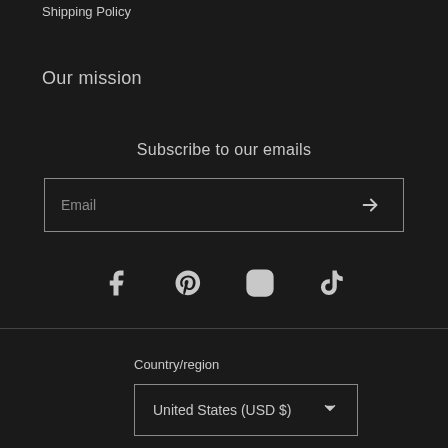Shipping Policy
Our mission
Subscribe to our emails
[Figure (infographic): Email subscription input box with placeholder text 'Email' and a right-arrow submit button]
[Figure (infographic): Social media icons row: Facebook, Pinterest, Instagram, TikTok]
Country/region
[Figure (infographic): Dropdown selector showing 'United States (USD $)' with chevron arrow]